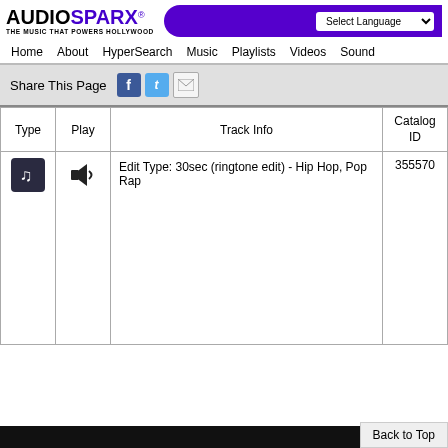[Figure (logo): AudioSparx logo with tagline 'THE MUSIC THAT POWERS HOLLYWOOD']
Select Language
Home   About   HyperSearch   Music   Playlists   Videos   Sound
Share This Page
| Type | Play | Track Info | Catalog ID |
| --- | --- | --- | --- |
| [music icon] | [speaker icon] | Edit Type: 30sec (ringtone edit) - Hip Hop, Pop Rap | 355570 |
Back to Top